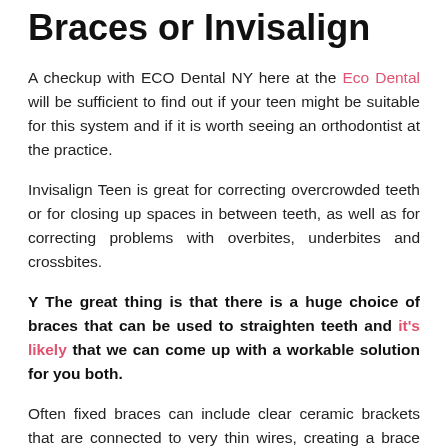Braces or Invisalign
A checkup with ECO Dental NY here at the Eco Dental will be sufficient to find out if your teen might be suitable for this system and if it is worth seeing an orthodontist at the practice.
Invisalign Teen is great for correcting overcrowded teeth or for closing up spaces in between teeth, as well as for correcting problems with overbites, underbites and crossbites.
Y The great thing is that there is a huge choice of braces that can be used to straighten teeth and it's likely that we can come up with a workable solution for you both.
Often fixed braces can include clear ceramic brackets that are connected to very thin wires, creating a brace that is still virtually invisible but which can move the teeth